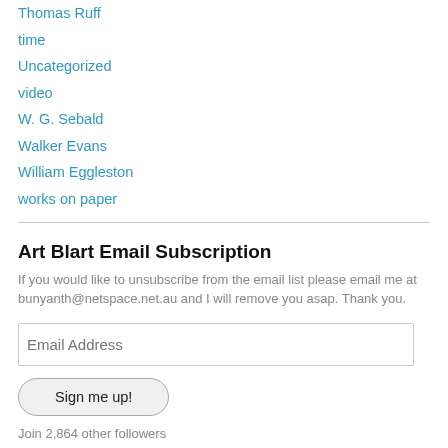Thomas Ruff
time
Uncategorized
video
W. G. Sebald
Walker Evans
William Eggleston
works on paper
Art Blart Email Subscription
If you would like to unsubscribe from the email list please email me at bunyanth@netspace.net.au and I will remove you asap. Thank you.
Join 2,864 other followers